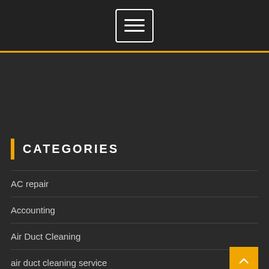Navigation menu button (hamburger icon)
CATEGORIES
AC repair
Accounting
Air Duct Cleaning
air duct cleaning service
air duct replacement